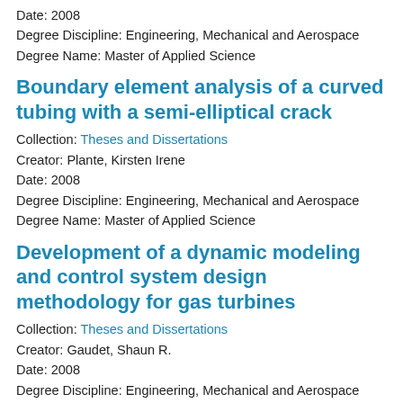Date: 2008
Degree Discipline: Engineering, Mechanical and Aerospace
Degree Name: Master of Applied Science
Boundary element analysis of a curved tubing with a semi-elliptical crack
Collection: Theses and Dissertations
Creator: Plante, Kirsten Irene
Date: 2008
Degree Discipline: Engineering, Mechanical and Aerospace
Degree Name: Master of Applied Science
Development of a dynamic modeling and control system design methodology for gas turbines
Collection: Theses and Dissertations
Creator: Gaudet, Shaun R.
Date: 2008
Degree Discipline: Engineering, Mechanical and Aerospace